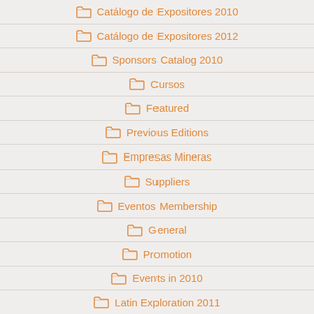Catálogo de Expositores 2010
Catálogo de Expositores 2012
Sponsors Catalog 2010
Cursos
Featured
Previous Editions
Empresas Mineras
Suppliers
Eventos Membership
General
Promotion
Events in 2010
Latin Exploration 2011